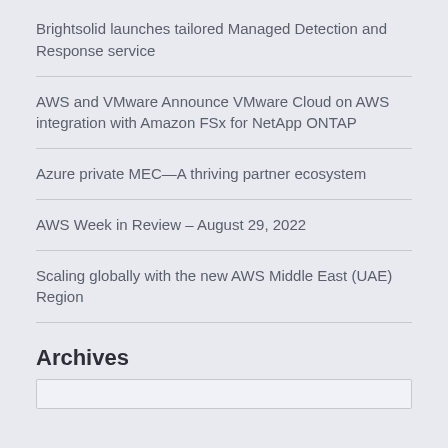Brightsolid launches tailored Managed Detection and Response service
AWS and VMware Announce VMware Cloud on AWS integration with Amazon FSx for NetApp ONTAP
Azure private MEC—A thriving partner ecosystem
AWS Week in Review – August 29, 2022
Scaling globally with the new AWS Middle East (UAE) Region
Archives